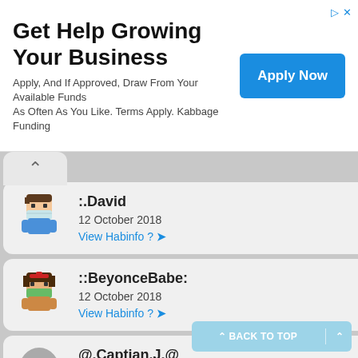[Figure (screenshot): Advertisement banner: Get Help Growing Your Business with Apply Now button]
Get Help Growing Your Business
Apply, And If Approved, Draw From Your Available Funds As Often As You Like. Terms Apply. Kabbage Funding
:.David - 12 October 2018 - View Habinfo ?
::BeyonceBabe: - 12 October 2018 - View Habinfo ?
@.Captian.J.@ - 12 October 2018 - View Habinfo ?
ABoxOfLust. - 12 October 2018 - View Habinfo